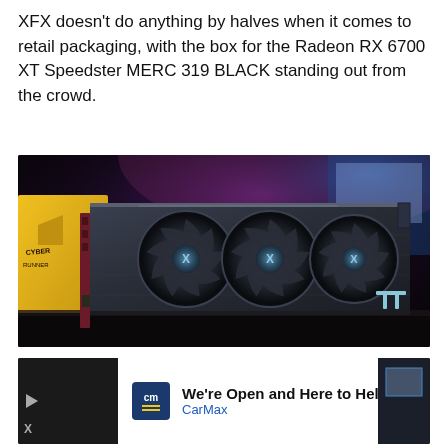XFX doesn't do anything by halves when it comes to retail packaging, with the box for the Radeon RX 6700 XT Speedster MERC 319 BLACK standing out from the crowd.
[Figure (photo): XFX Radeon RX 6700 XT Speedster MERC 319 BLACK GPU graphics card with three fans featuring the XFX logo, set against a colorful bokeh background with yellow Cyberpunk Edgerunners box and RGB-lit PC setup. TweakTown watermark in bottom right corner.]
[Figure (photo): Bottom portion of another photo showing a dark scene, with a CarMax advertisement overlay. Ad shows CarMax logo (cm in blue square with yellow lines), text 'We're Open and Here to Help' and 'CarMax', with a blue diamond arrow icon on the right.]